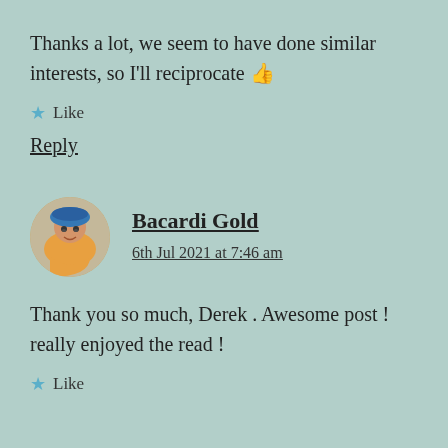Thanks a lot, we seem to have done similar interests, so I'll reciprocate 👍
★ Like
Reply
[Figure (photo): Circular avatar photo of Bacardi Gold commenter]
Bacardi Gold
6th Jul 2021 at 7:46 am
Thank you so much, Derek . Awesome post ! really enjoyed the read !
★ Like